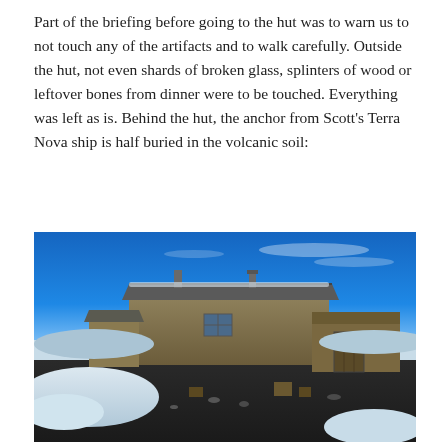Part of the briefing before going to the hut was to warn us to not touch any of the artifacts and to walk carefully. Outside the hut, not even shards of broken glass, splinters of wood or leftover bones from dinner were to be touched. Everything was left as is. Behind the hut, the anchor from Scott's Terra Nova ship is half buried in the volcanic soil:
[Figure (photo): Exterior view of Scott's historic wooden hut at Cape Evans, Antarctica. A large timber building with a corrugated metal roof sits against a vivid blue sky. Dark volcanic soil and patches of snow are visible in the foreground. Wooden outbuildings and scattered artifacts on the ground surround the hut.]